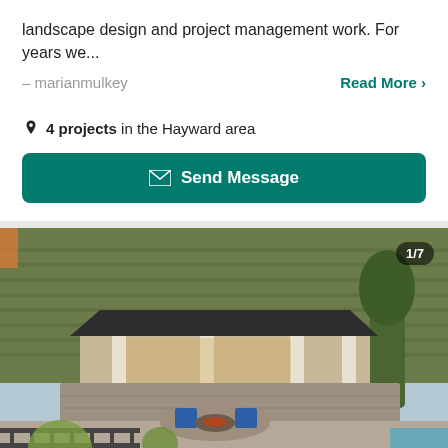landscape design and project management work. For years we...
– marianmulkey
Read More >
4 projects in the Hayward area
Send Message
[Figure (photo): Outdoor patio and pool area of a hillside property with a stone-clad pavilion structure, blue Adirondack chairs around a fire pit, terraced vineyard hillside in background, surrounded by trees and landscaping. Badge shows 1/7.]